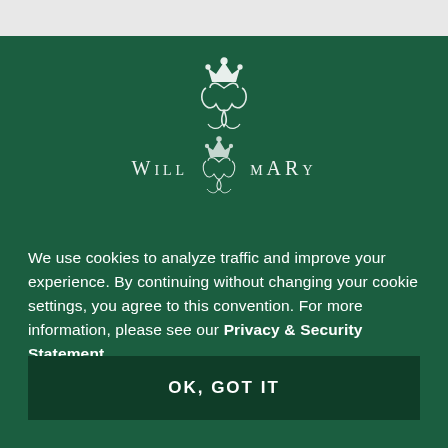[Figure (logo): William & Mary university logo with crown monogram emblem, shown twice with the wordmark 'WILLIAM & MARY' on a dark green background]
We use cookies to analyze traffic and improve your experience. By continuing without changing your cookie settings, you agree to this convention. For more information, please see our Privacy & Security Statement.
OK, GOT IT